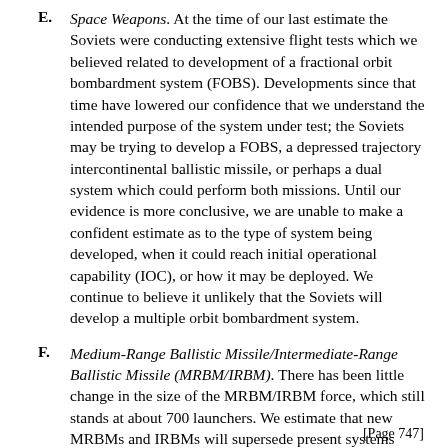E. Space Weapons. At the time of our last estimate the Soviets were conducting extensive flight tests which we believed related to development of a fractional orbit bombardment system (FOBS). Developments since that time have lowered our confidence that we understand the intended purpose of the system under test; the Soviets may be trying to develop a FOBS, a depressed trajectory intercontinental ballistic missile, or perhaps a dual system which could perform both missions. Until our evidence is more conclusive, we are unable to make a confident estimate as to the type of system being developed, when it could reach initial operational capability (IOC), or how it may be deployed. We continue to believe it unlikely that the Soviets will develop a multiple orbit bombardment system.
F. Medium-Range Ballistic Missile/Intermediate-Range Ballistic Missile (MRBM/IRBM). There has been little change in the size of the MRBM/IRBM force, which still stands at about 700 launchers. We estimate that new MRBMs and IRBMs will supersede present systems within the next 10
[Page 747]